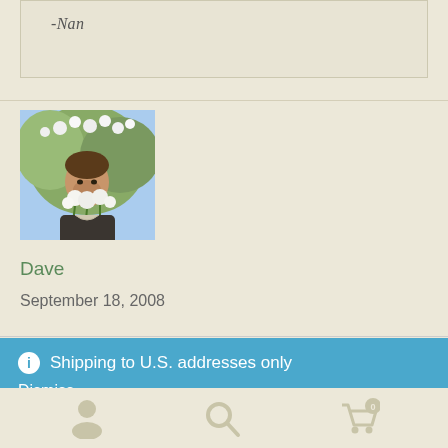-Nan
[Figure (photo): Avatar photo of a man holding white flowers close to his face, outdoors with blurred background]
Dave
September 18, 2008
ⓘ Shipping to U.S. addresses only
Dismiss
Navigation icons: user, search, cart (0)